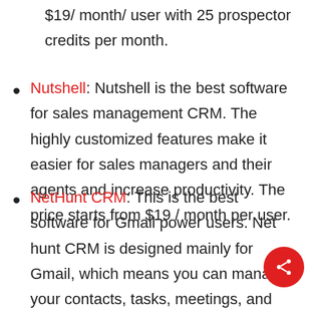$19/ month/ user with 25 prospector credits per month.
Nutshell: Nutshell is the best software for sales management CRM. The highly customized features make it easier for sales managers and their agents and increase productivity. The price starts from $19 / month per user.
NetHunt CRM: This is the best software for Gmail power users. Net hunt CRM is designed mainly for Gmail, which means you can manage your contacts, tasks, meetings, and email campaigns from your inbox. The